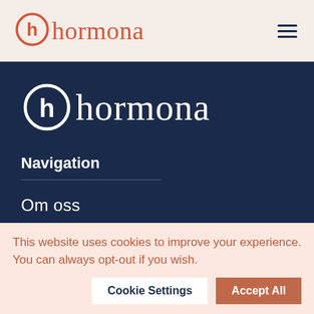[Figure (logo): Hormona logo with circular h icon in coral/orange color and text 'hormona' in serif font, shown in header]
[Figure (logo): Hormona logo in white on dark navy background in navigation panel, large size]
Navigation
Om oss
Kontakta oss
This website uses cookies to improve your experience. You can always opt-out if you wish.